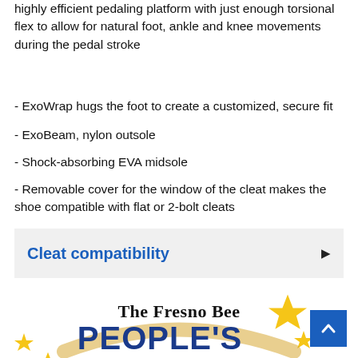highly efficient pedaling platform with just enough torsional flex to allow for natural foot, ankle and knee movements during the pedal stroke
- ExoWrap hugs the foot to create a customized, secure fit
- ExoBeam, nylon outsole
- Shock-absorbing EVA midsole
- Removable cover for the window of the cleat makes the shoe compatible with flat or 2-bolt cleats
Cleat compatibility
[Figure (logo): The Fresno Bee People's Choice award logo with gold stars and a ribbon/banner design]